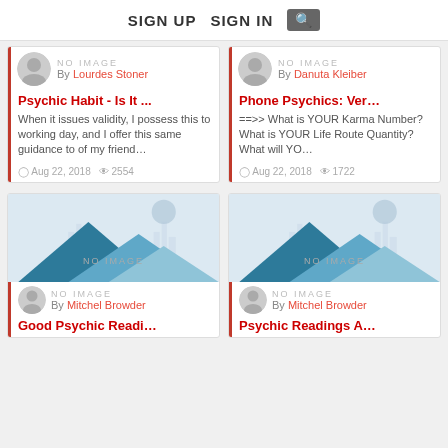SIGN UP  SIGN IN  [search]
NO IMAGE
By Lourdes Stoner
Psychic Habit - Is It ...
When it issues validity, I possess this to working day, and I offer this same guidance to of my friend…
Aug 22, 2018  2554
NO IMAGE
By Danuta Kleiber
Phone Psychics: Ver…
==>> What is YOUR Karma Number? What is YOUR Life Route Quantity? What will YO…
Aug 22, 2018  1722
[Figure (illustration): Placeholder image with mountain silhouettes and circle, NO IMAGE label overlay]
NO IMAGE
By Mitchel Browder
Good Psychic Readi…
[Figure (illustration): Placeholder image with mountain silhouettes and circle, NO IMAGE label overlay]
NO IMAGE
By Mitchel Browder
Psychic Readings A…